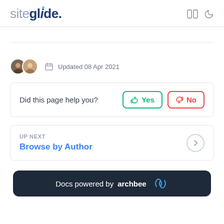siteglide.
Updated 08 Apr 2021
Did this page help you? Yes No
UP NEXT
Browse by Author
Docs powered by archbee